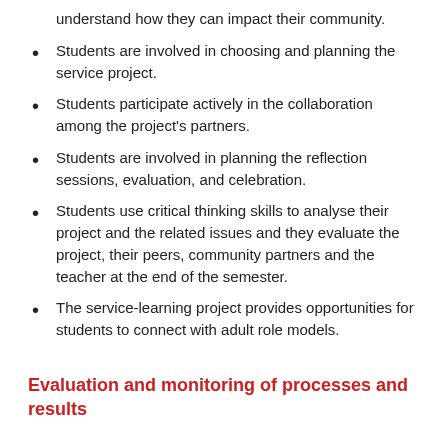understand how they can impact their community.
Students are involved in choosing and planning the service project.
Students participate actively in the collaboration among the project's partners.
Students are involved in planning the reflection sessions, evaluation, and celebration.
Students use critical thinking skills to analyse their project and the related issues and they evaluate the project, their peers, community partners and the teacher at the end of the semester.
The service-learning project provides opportunities for students to connect with adult role models.
Evaluation and monitoring of processes and results